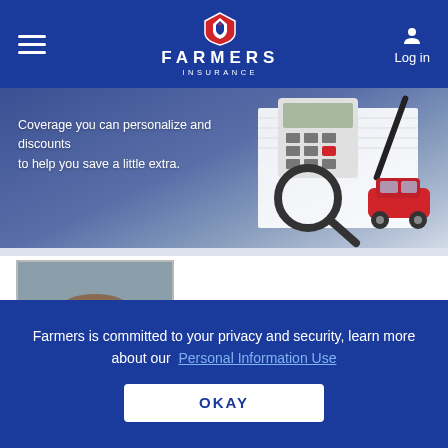[Figure (screenshot): Farmers Insurance navigation bar with hamburger menu, logo, and Log in button]
[Figure (photo): Banner with text 'Coverage you can personalize and discounts to help you save a little extra.' with calculator, magnifying glass, and toy car items on desk]
[Figure (photo): Professional headshot photo of insurance agent Joseph Bisso in suit and tie]
JOSEPH BISSO
Farmers Insurance Agent in Troy, IL
GET A QUOTE
Farmers is committed to your privacy and security, learn more about our Personal Information Use
OKAY